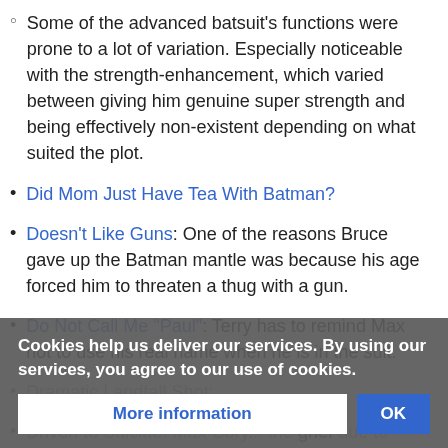Some of the advanced batsuit's functions were prone to a lot of variation. Especially noticeable with the strength-enhancement, which varied between giving him genuine super strength and being effectively non-existent depending on what suited the plot.
Did Mom Just Have Tea With Batman?
Doesn't Like Guns: One of the reasons Bruce gave up the Batman mantle was because his age forced him to threaten a thug with a gun.
Do Not Call Me "Paul": Terry has to remind Max not to use his real name when he is in the suit.
Dramatic Landfall Shot:
Driven to Suicide: Max Cory... the grief due to interference... to kill himself,
Cookies help us deliver our services. By using our services, you agree to our use of cookies.
More information | OK